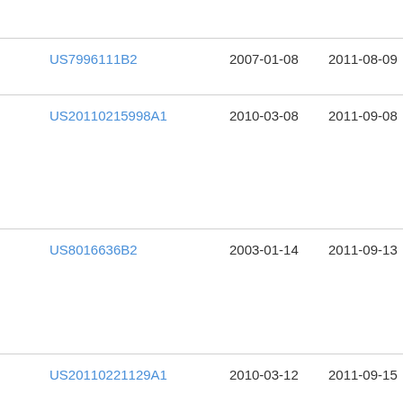| Patent | Filed | Published | Assignee |
| --- | --- | --- | --- |
| US7996111B2 | 2007-01-08 | 2011-08-09 | Ens (Sh |
| US20110215998A1 | 2010-03-08 | 2011-09-08 | Bre |
| US8016636B2 | 2003-01-14 | 2011-09-13 | Orc |
| US20110221129A1 | 2010-03-12 | 2011-09-15 | Sis |
| US8038532B2 | 2002-07-24 | 2011-10-18 | Kor Ele |